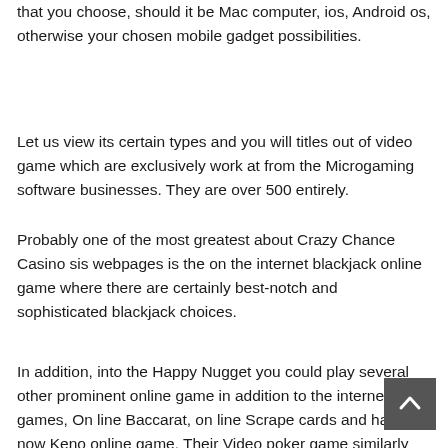that you choose, should it be Mac computer, ios, Android os, otherwise your chosen mobile gadget possibilities.
Let us view its certain types and you will titles out of video game which are exclusively work at from the Microgaming software businesses. They are over 500 entirely.
Probably one of the most greatest about Crazy Chance Casino sis webpages is the on the internet blackjack online game where there are certainly best-notch and sophisticated blackjack choices.
In addition, into the Happy Nugget you could play several other prominent online game in addition to the internet Crap games, On line Baccarat, on line Scrape cards and have now Keno online game. Their Video poker game similarly keeps every person heated up and thirsty for lots more. Lucky Nugget naturally got the back which have one assortment of video game you make